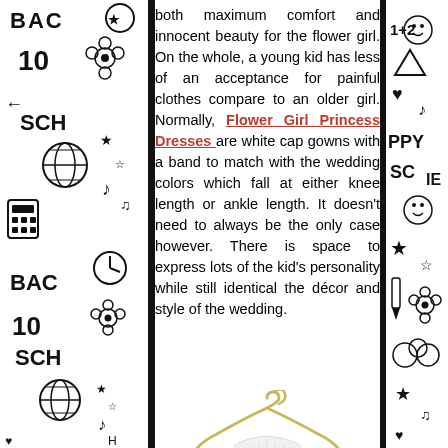[Figure (illustration): Left decorative strip with black-and-white doodle pattern featuring school/education items: 'BACK', '10', 'SCH', globe, music notes, calculator, clock, flowers, stars]
both maximum comfort and innocent beauty for the flower girl. On the whole, a young kid has less of an acceptance for painful clothes compare to an older girl. Normally, Flower Girl Princess Dresses are white cap gowns with a band to match with the wedding colors which fall at either knee length or ankle length. It doesn't need to always be the only case however. There is space to express lots of the kid's personality while still identical the décor and style of the wedding.
[Figure (illustration): Right decorative strip with black-and-white doodle pattern featuring: '1+2', triangle, hearts, music notes, 'PPY', 'SC', smiley face, stars, pencil, flowers]
[Figure (photo): A white flower girl princess dress hanging on a gold/cream colored hanger against a white background. The dress appears to be a white cap gown style with ruffled/tiered skirt.]